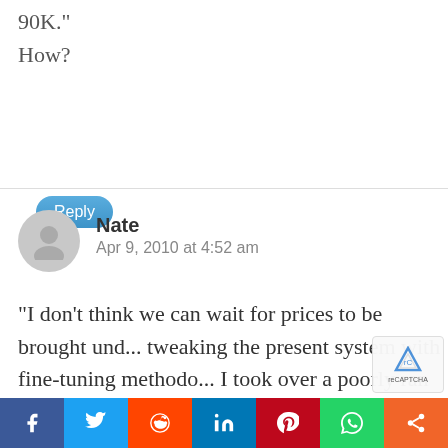90K."
How?
Reply
Nate
Apr 9, 2010 at 4:52 am
“I don’t think we can wait for prices to be brought und... tweaking the present system with fine-tuning methodo... I took over a poorly ran health plan for a trucking com... They were with a large local insurance carrier. I imme... reduced their fix cost 40% or so. The 6 months or so si... have easily cut their claim cost 20-30%. This didn’t in... massive cost shifting to employees. It was just doing th... smarter, cutting waste, and not paying every bill that c... providers. We had a $330,000 bill for clai...